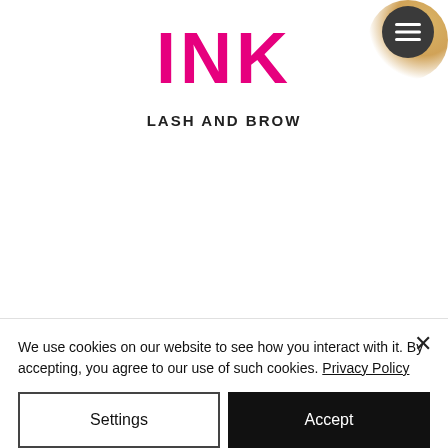INK
LASH AND BROW
[Figure (other): Circular hamburger menu button (three horizontal lines) with a warm glowing background, dark gray circle]
We use cookies on our website to see how you interact with it. By accepting, you agree to our use of such cookies. Privacy Policy
Settings
Accept